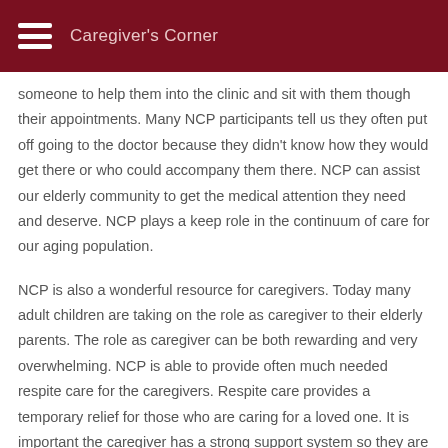Caregiver's Corner
someone to help them into the clinic and sit with them though their appointments. Many NCP participants tell us they often put off going to the doctor because they didn't know how they would get there or who could accompany them there. NCP can assist our elderly community to get the medical attention they need and deserve. NCP plays a keep role in the continuum of care for our aging population.
NCP is also a wonderful resource for caregivers. Today many adult children are taking on the role as caregiver to their elderly parents. The role as caregiver can be both rewarding and very overwhelming. NCP is able to provide often much needed respite care for the caregivers. Respite care provides a temporary relief for those who are caring for a loved one. It is important the caregiver has a strong support system so they are able to take